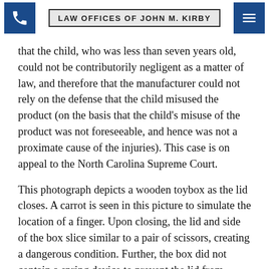LAW OFFICES OF JOHN M. KIRBY
that the child, who was less than seven years old, could not be contributorily negligent as a matter of law, and therefore that the manufacturer could not rely on the defense that the child misused the product (on the basis that the child's misuse of the product was not foreseeable, and hence was not a proximate cause of the injuries). This case is on appeal to the North Carolina Supreme Court.
This photograph depicts a wooden toybox as the lid closes. A carrot is seen in this picture to simulate the location of a finger. Upon closing, the lid and side of the box slice similar to a pair of scissors, creating a dangerous condition. Further, the box did not contain a spring device to prevent the lid from slamming.